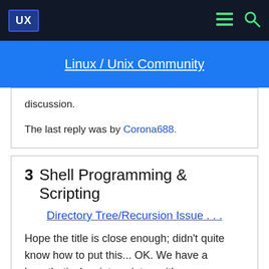UX  Linux / Unix Community
discussion.
The last reply was by Corona688.
3  Shell Programming & Scripting
Directory Tree/Recursion Issue . . .
Hope the title is close enough; didn't quite know how to put this... OK. We have a hypothetical script, script.a, with one simplistic line:bash ./nextDir/script.bNow script.b has a bit more going for it; and does